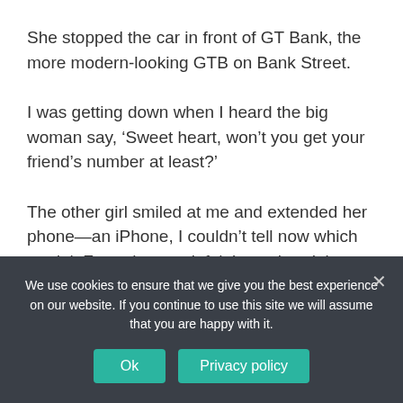She stopped the car in front of GT Bank, the more modern-looking GTB on Bank Street.
I was getting down when I heard the big woman say, ‘Sweet heart, won’t you get your friend’s number at least?’
The other girl smiled at me and extended her phone—an iPhone, I couldn’t tell now which model. From the way it felt in my hand, it must have been nothing less than iPhone 8.
I pressed in my digits and without seeking her permission dialled. Hits from dialling the phone back.
We use cookies to ensure that we give you the best experience on our website. If you continue to use this site we will assume that you are happy with it.